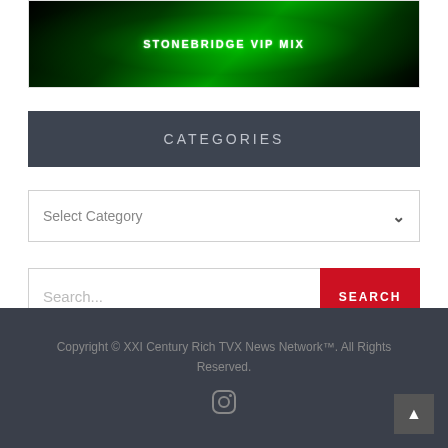[Figure (illustration): Dark green neon banner with text STONEBRIDGE VIP MIX in glowing white/green futuristic font]
CATEGORIES
Select Category
Search...
SEARCH
Copyright © XXI Century Rich TVX News Network™. All Rights Reserved.